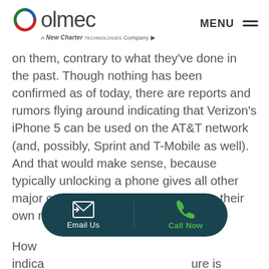olmec — A New Charter Technologies Company | MENU
on them, contrary to what they've done in the past. Though nothing has been confirmed as of today, there are reports and rumors flying around indicating that Verizon's iPhone 5 can be used on the AT&T network (and, possibly, Sprint and T-Mobile as well). And that would make sense, because typically unlocking a phone gives all other major carriers access to carrying it on their own networks.
How... indica... ure is going to be available to people right off
[Figure (infographic): Dark teal pill-shaped CTA bar with Email Us button (envelope icon) on the left and Call Now button (green phone icon) on the right]